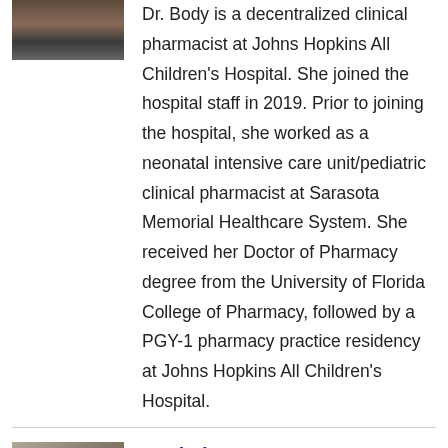[Figure (photo): Partial photo of a person, cropped at the top of the page]
Dr. Body is a decentralized clinical pharmacist at Johns Hopkins All Children's Hospital. She joined the hospital staff in 2019. Prior to joining the hospital, she worked as a neonatal intensive care unit/pediatric clinical pharmacist at Sarasota Memorial Healthcare System. She received her Doctor of Pharmacy degree from the University of Florida College of Pharmacy, followed by a PGY-1 pharmacy practice residency at Johns Hopkins All Children's Hospital.
[Figure (photo): Partial photo at bottom of page, cropped]
Rachel Pensa...